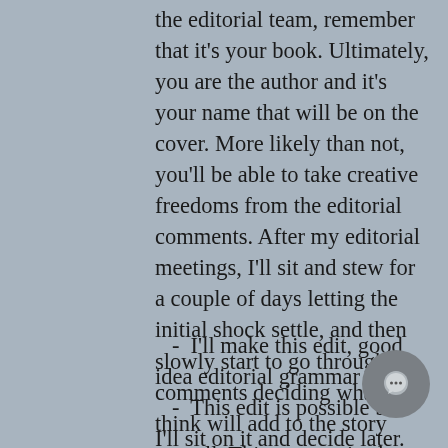the editorial team, remember that it's your book. Ultimately, you are the author and it's your name that will be on the cover. More likely than not, you'll be able to take creative freedoms from the editorial comments. After my editorial meetings, I'll sit and stew for a couple of days letting the initial shock settle, and then slowly start to go through the comments deciding what I think will add to the story overall. This process is almost like prioritizing their comments into 3 categories of:
- I'll make this edit, good idea editorial grammar nerds!
- This edit is possible but I'll sit on it and decide later.